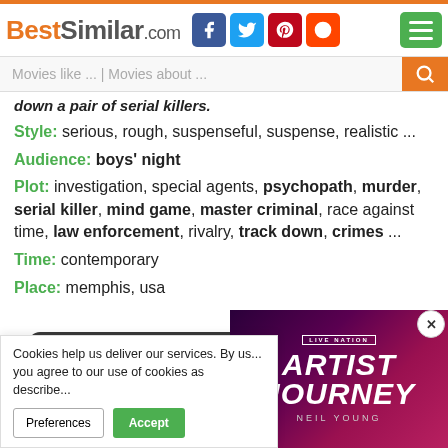BestSimilar.com [social icons] [menu]
Movies like ... | Movies about ...
down a pair of serial killers.
Style: serious, rough, suspenseful, suspense, realistic ...
Audience: boys' night
Plot: investigation, special agents, psychopath, murder, serial killer, mind game, master criminal, race against time, law enforcement, rivalry, track down, crimes ...
Time: contemporary
Place: memphis, usa
[Figure (screenshot): Movie play button overlay with dark background and MOVIE text]
[Figure (photo): Live Nation Artist Journey Neil Young advertisement with purple/pink gradient background]
Cookies help us deliver our services. By us... you agree to our use of cookies as describe...
Preferences | Accept